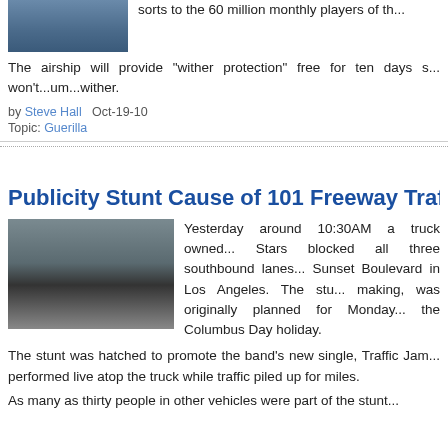[Figure (photo): Small photo at top left, appears to be an aerial or outdoor scene]
sorts to the 60 million monthly players of th...
The airship will provide "wither protection" free for ten days so...won't...um...wither.
by Steve Hall   Oct-19-10
Topic: Guerilla
Publicity Stunt Cause of 101 Freeway Traf...
[Figure (photo): Aerial photo of a freeway showing a large truck blocking three southbound lanes with cars backed up]
Yesterday around 10:30AM a truck owned... Stars blocked all three southbound lanes... Sunset Boulevard in Los Angeles. The stu... making, was originally planned for Monday... the Columbus Day holiday.
The stunt was hatched to promote the band's new single, Traffic Jam... performed live atop the truck while traffic piled up for miles.
As many as thirty people in other vehicles were part of the stunt...